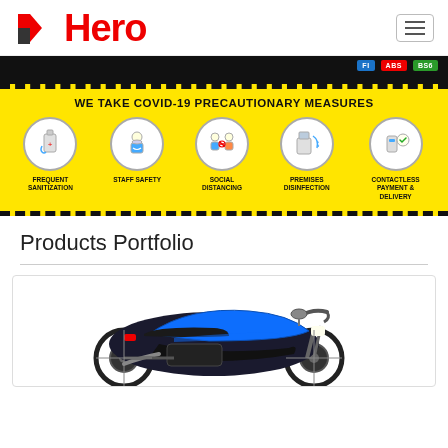Hero MotoCorp website header with logo and hamburger menu
[Figure (screenshot): Dark banner strip with FI, ABS, BS6 badges]
[Figure (infographic): Yellow COVID-19 precautionary measures banner with 5 icons: Frequent Sanitization, Staff Safety, Social Distancing, Premises Disinfection, Contactless Payment & Delivery]
Products Portfolio
[Figure (photo): Hero MotoCorp motorcycle (black and blue) shown from the side inside a product card]